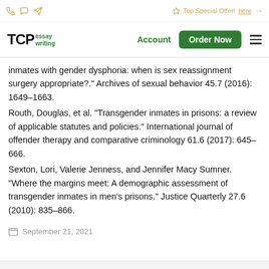TCP essay writing — Account | Order Now
inmates with gender dysphoria: when is sex reassignment surgery appropriate?" Archives of sexual behavior 45.7 (2016): 1649–1663.
Routh, Douglas, et al. "Transgender inmates in prisons: a review of applicable statutes and policies." International journal of offender therapy and comparative criminology 61.6 (2017): 645–666.
Sexton, Lori, Valerie Jenness, and Jennifer Macy Sumner. "Where the margins meet: A demographic assessment of transgender inmates in men's prisons." Justice Quarterly 27.6 (2010): 835–866.
September 21, 2021